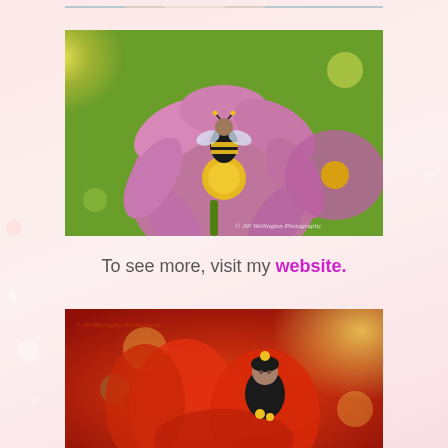[Figure (photo): Partial top edge of a previous photo showing a child, cropped at top of page]
[Figure (photo): Child dressed in a bumblebee costume standing on a pink cosmos flower, photographed in a garden. Watermark reads: © Jill Wellington Photography]
To see more, visit my website.
[Figure (photo): Child in a ladybug/bee costume among red tulips with bokeh background. Watermark reads: © Jill Wellington Photography]